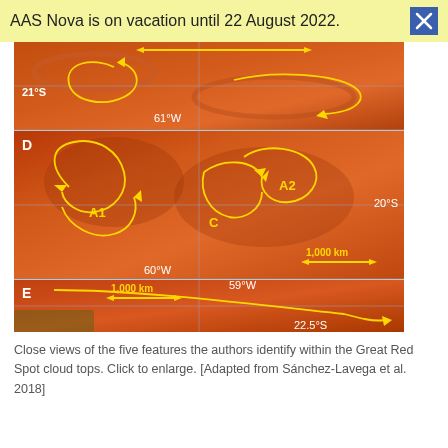AAS Nova is on vacation until 22 August 2022.
[Figure (photo): Composite image of Jupiter's Great Red Spot cloud tops showing three panels (top unlabeled, middle labeled D with anticyclones A1, A2 and cyclone C, bottom labeled E). Yellow arrows show wind flow patterns. Grid lines mark coordinates: 21°S, 20°S, 22.5°S latitudes and 61°W, 60°W, 59°W longitudes. Scale bar shows 1,000 km.]
Close views of the five features the authors identify within the Great Red Spot cloud tops. Click to enlarge. [Adapted from Sánchez-Lavega et al. 2018]